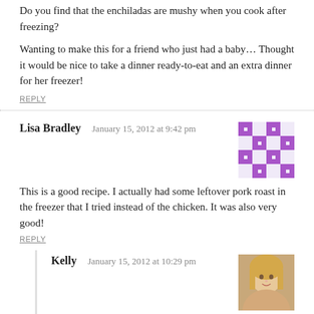Do you find that the enchiladas are mushy when you cook after freezing?
Wanting to make this for a friend who just had a baby… Thought it would be nice to take a dinner ready-to-eat and an extra dinner for her freezer!
REPLY
Lisa Bradley   January 15, 2012 at 9:42 pm
This is a good recipe. I actually had some leftover pork roast in the freezer that I tried instead of the chicken. It was also very good!
REPLY
Kelly   January 15, 2012 at 10:29 pm
Love that idea! Glad you liked it. 🙂
REPLY
Mysty   January 28, 2012 at 5:58 pm
This is the 3rd time I have made your chicken enchiladas —